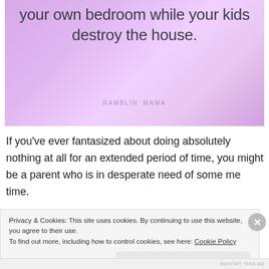[Figure (illustration): Purple/lavender gradient background image with large light sans-serif text reading 'your own bedroom while your kids destroy the house.' and a watermark 'RAMBLIN' MAMA' at the bottom center.]
If you've ever fantasized about doing absolutely nothing at all for an extended period of time, you might be a parent who is in desperate need of some me time.
Privacy & Cookies: This site uses cookies. By continuing to use this website, you agree to their use.
To find out more, including how to control cookies, see here: Cookie Policy
Close and accept